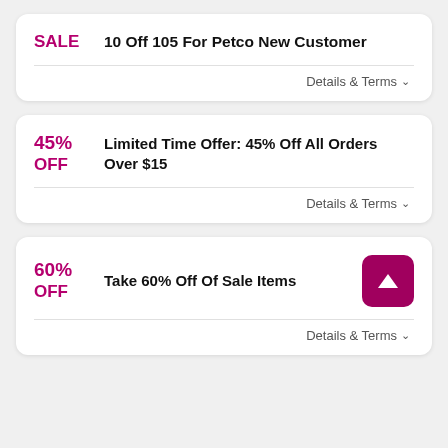SALE — 10 Off 105 For Petco New Customer
Details & Terms
45% OFF — Limited Time Offer: 45% Off All Orders Over $15
Details & Terms
60% OFF — Take 60% Off Of Sale Items
Details & Terms